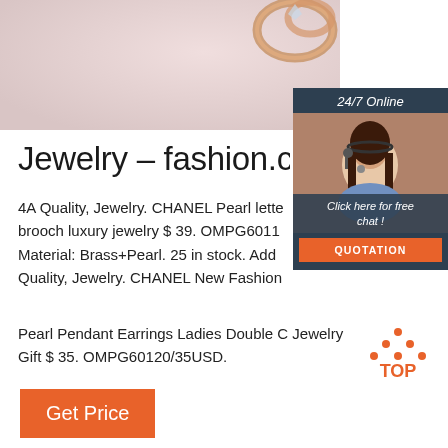[Figure (photo): Hero banner with pink/blush background and rose gold jewelry rings in top right corner]
[Figure (photo): 24/7 Online chat widget showing a smiling woman with headset, dark blue background, with 'Click here for free chat!' text and orange QUOTATION button]
Jewelry – fashion.com
4A Quality, Jewelry. CHANEL Pearl letter brooch luxury jewelry $ 39. OMPG6011 Material: Brass+Pearl. 25 in stock. Add Quality, Jewelry. CHANEL New Fashion Pearl Pendant Earrings Ladies Double C Jewelry Gift $ 35. OMPG60120/35USD.
[Figure (illustration): TOP icon with orange dots arranged in triangle above orange text TOP]
Get Price